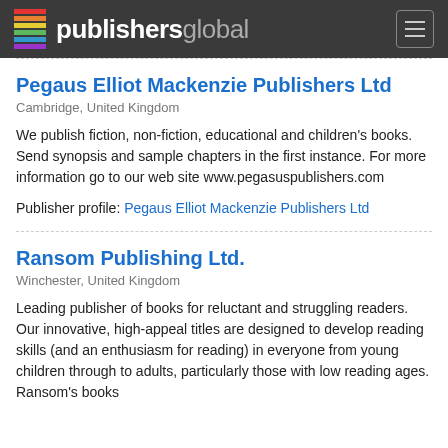publishersglobal
Pegaus Elliot Mackenzie Publishers Ltd
Cambridge, United Kingdom
We publish fiction, non-fiction, educational and children's books. Send synopsis and sample chapters in the first instance. For more information go to our web site www.pegasuspublishers.com
Publisher profile: Pegaus Elliot Mackenzie Publishers Ltd
Ransom Publishing Ltd.
Winchester, United Kingdom
Leading publisher of books for reluctant and struggling readers. Our innovative, high-appeal titles are designed to develop reading skills (and an enthusiasm for reading) in everyone from young children through to adults, particularly those with low reading ages. Ransom&#039;s books